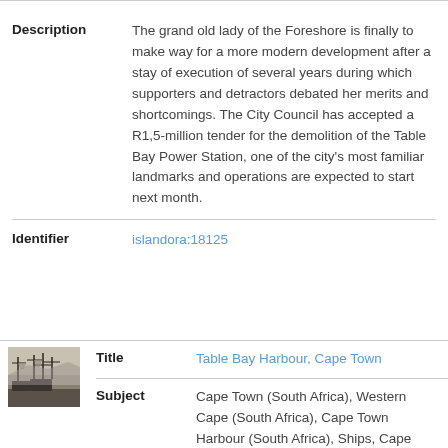| Field | Value |
| --- | --- |
| Description | The grand old lady of the Foreshore is finally to make way for a more modern development after a stay of execution of several years during which supporters and detractors debated her merits and shortcomings. The City Council has accepted a R1,5-million tender for the demolition of the Table Bay Power Station, one of the city's most familiar landmarks and operations are expected to start next month. |
| Identifier | islandora:18125 |
[Figure (photo): Small black and white thumbnail photograph of Table Bay Harbour with sailing ships]
| Field | Value |
| --- | --- |
| Title | Table Bay Harbour, Cape Town |
| Subject | Cape Town (South Africa), Western Cape (South Africa), Cape Town Harbour (South Africa), Ships, Cape Town Harbour, History |